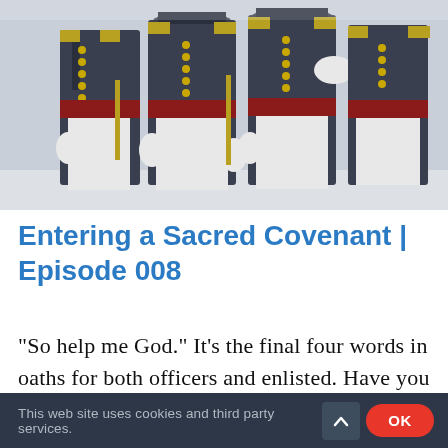[Figure (photo): Military cadets in formal dress uniforms with gold buttons, white gloves, red sashes, and white pants, standing in formation. Torsos visible from mid-chest to thigh.]
Entering a Sacred Covenant | Episode 008
"So help me God." It's the final four words in oaths for both officers and enlisted. Have you thought about what the phrase
This website uses cookies and third party services.